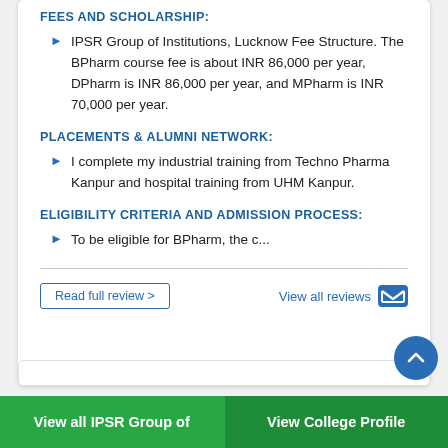FEES AND SCHOLARSHIP:
IPSR Group of Institutions, Lucknow Fee Structure. The BPharm course fee is about INR 86,000 per year, DPharm is INR 86,000 per year, and MPharm is INR 70,000 per year.
PLACEMENTS & ALUMNI NETWORK:
I complete my industrial training from Techno Pharma Kanpur and hospital training from UHM Kanpur.
ELIGIBILITY CRITERIA AND ADMISSION PROCESS:
To be eligible for BPharm, the c...
Read full review >
View all reviews
View all IPSR Group of
View College Profile